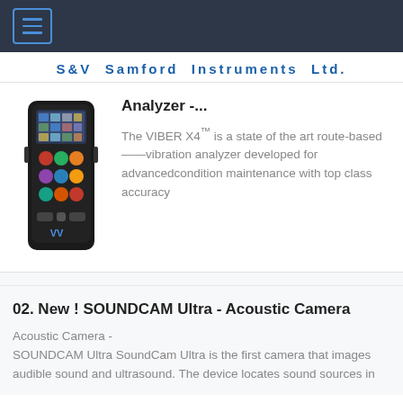S&V Samford Instruments Ltd.
[Figure (photo): VIBER X4 handheld vibration analyzer device, black rectangular instrument with colorful buttons and a screen]
Analyzer -...
The VIBER X4™ is a state of the art route-based ——vibration analyzer developed for advancedcondition maintenance with top class accuracy
02. New ! SOUNDCAM Ultra - Acoustic Camera
Acoustic Camera - SOUNDCAM Ultra SoundCam Ultra is the first camera that images audible sound and ultrasound. The device locates sound sources in